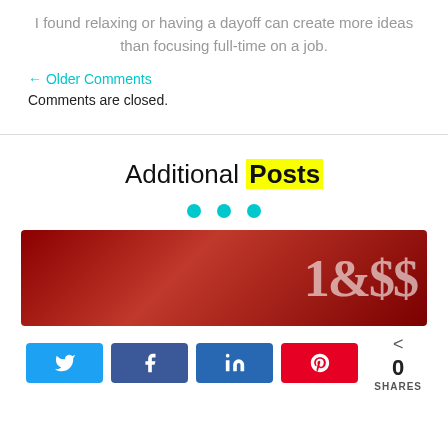I found relaxing or having a dayoff can create more ideas than focusing full-time on a job.
← Older Comments
Comments are closed.
Additional Posts
[Figure (other): Three teal dots used as a decorative separator/carousel indicator]
[Figure (photo): Red background image with white dollar sign and number graphics, partially visible]
0 SHARES — share buttons for Twitter, Facebook, LinkedIn, Pinterest